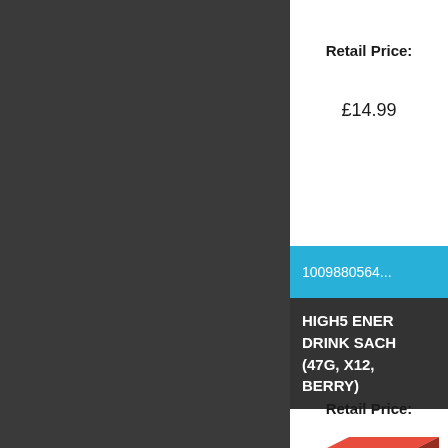Retail Price:
£14.99
1009880564...
HIGH5 ENERGY DRINK SACHETS (47G, X12, BERRY)
[Figure (photo): HIGH5 Energy Drink box product image]
Retail Price: